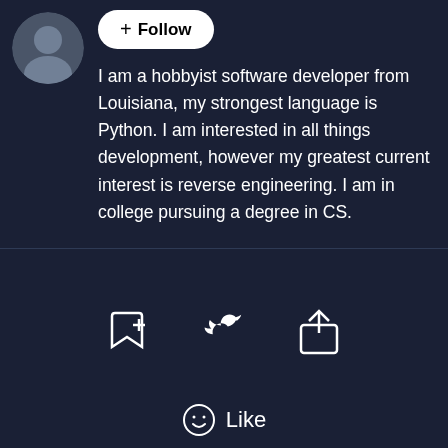[Figure (photo): Circular profile photo of a person, partially visible at top-left corner]
+ Follow
I am a hobbyist software developer from Louisiana, my strongest language is Python. I am interested in all things development, however my greatest current interest is reverse engineering. I am in college pursuing a degree in CS.
[Figure (infographic): Three action icons: bookmark-plus, Twitter bird, and share/upload icon]
Like